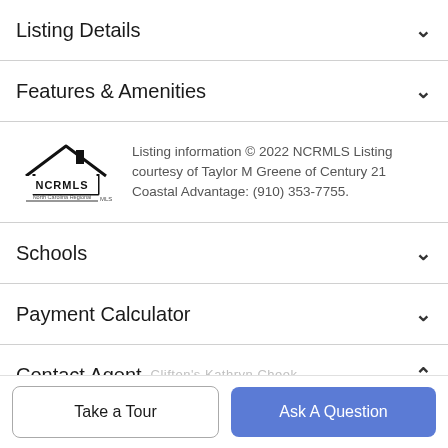Listing Details
Features & Amenities
Listing information © 2022 NCRMLS Listing courtesy of Taylor M Greene of Century 21 Coastal Advantage: (910) 353-7755.
Schools
Payment Calculator
Contact Agent
[Figure (photo): Agent profile photo (partially visible circular avatar)]
Clifton's Kathryn Cheek
Take a Tour
Ask A Question